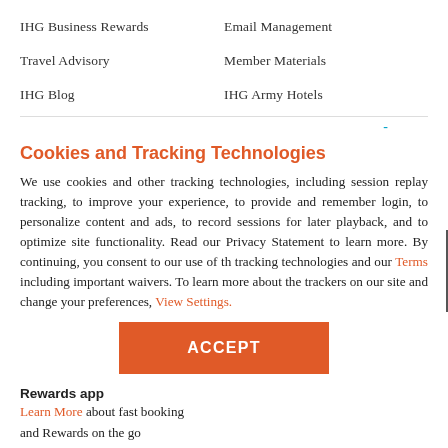IHG Business Rewards
Email Management
Travel Advisory
Member Materials
IHG Blog
IHG Army Hotels
Cookies and Tracking Technologies
We use cookies and other tracking technologies, including session replay tracking, to improve your experience, to provide and remember login, to personalize content and ads, to record sessions for later playback, and to optimize site functionality. Read our Privacy Statement to learn more. By continuing, you consent to our use of the tracking technologies and our Terms including important waivers. To learn more about the trackers on our site and change your preferences, View Settings.
ACCEPT
Rewards app
Learn More about fast booking and Rewards on the go